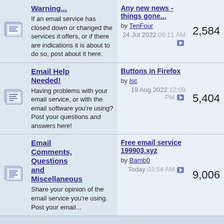Warning... If an email service has closed down or changed the services it offers, or if there are indications it is about to do so, post about it here. Last post: Any new news - things gone... by TenFour 24 Jul 2022 06:11 AM. Posts: 2,584
Email Help Needed! Having problems with your email service, or with the email software you're using? Post your questions and answers here! Last post: Buttons in Firefox by lsc 19 Aug 2022 12:09 PM. Posts: 5,404
Email Comments, Questions and Miscellaneous Share your opinion of the email service you're using. Post your email... Last post: Free email service 199903.xyz by Bamb0 Today 03:54 AM. Posts: 9,006